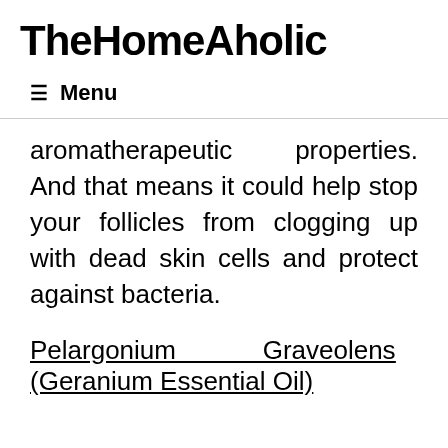TheHomeAholic
≡ Menu
aromatherapeutic properties. And that means it could help stop your follicles from clogging up with dead skin cells and protect against bacteria.
Pelargonium Graveolens (Geranium Essential Oil)